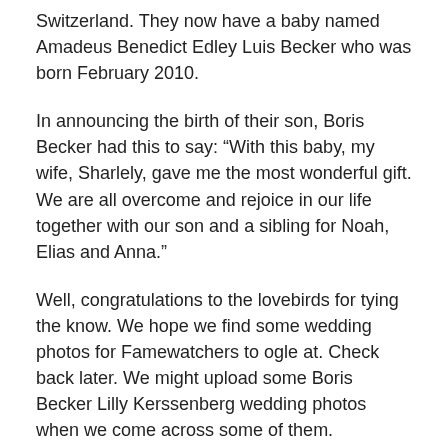Switzerland. They now have a baby named Amadeus Benedict Edley Luis Becker who was born February 2010.
In announcing the birth of their son, Boris Becker had this to say: “With this baby, my wife, Sharlely, gave me the most wonderful gift. We are all overcome and rejoice in our life together with our son and a sibling for Noah, Elias and Anna.”
Well, congratulations to the lovebirds for tying the know. We hope we find some wedding photos for Famewatchers to ogle at. Check back later. We might upload some Boris Becker Lilly Kerssenberg wedding photos when we come across some of them.